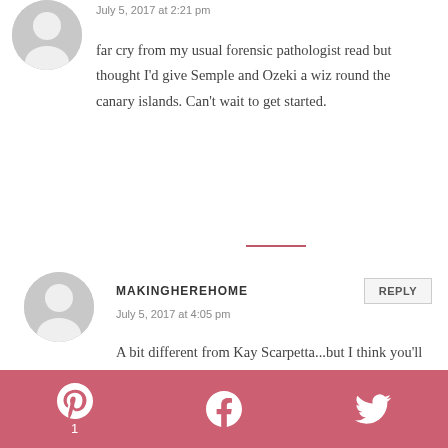July 5, 2017 at 2:21 pm
far cry from my usual forensic pathologist read but thought I'd give Semple and Ozeki a wiz round the canary islands. Can't wait to get started.
MAKINGHEREHOME
July 5, 2017 at 4:05 pm
A bit different from Kay Scarpetta...but I think you'll like them. Thank you xxx
ISPYPRETTYPLACES
July 9, 2017 at 11:21 am